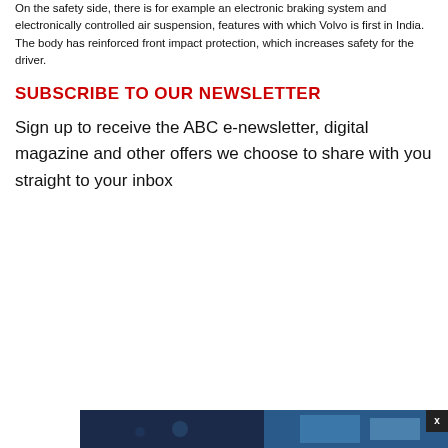On the safety side, there is for example an electronic braking system and electronically controlled air suspension, features with which Volvo is first in India. The body has reinforced front impact protection, which increases safety for the driver.
SUBSCRIBE TO OUR NEWSLETTER
Sign up to receive the ABC e-newsletter, digital magazine and other offers we choose to share with you straight to your inbox
[Figure (photo): Advertisement image at the bottom of the page, dark background with landscape/scenic imagery, with an X close button]